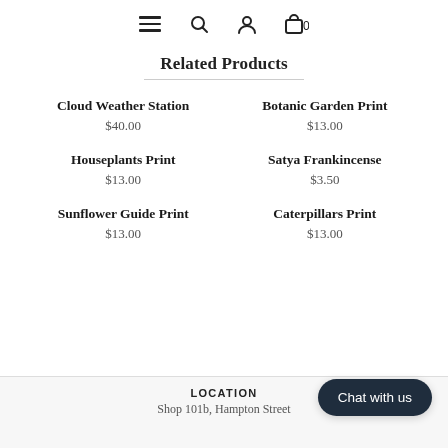Navigation bar with menu, search, account, and cart (0) icons
Related Products
Cloud Weather Station
$40.00
Botanic Garden Print
$13.00
Houseplants Print
$13.00
Satya Frankincense
$3.50
Sunflower Guide Print
$13.00
Caterpillars Print
$13.00
Chat with us
LOCATION
Shop 101b, Hampton Street